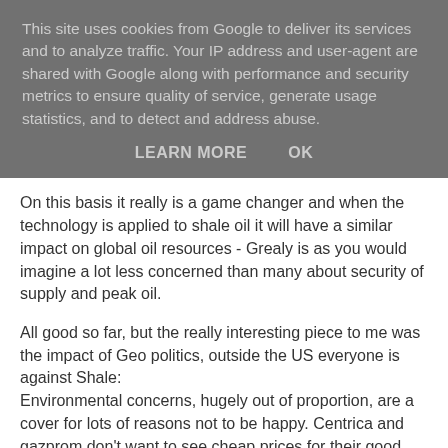This site uses cookies from Google to deliver its services and to analyze traffic. Your IP address and user-agent are shared with Google along with performance and security metrics to ensure quality of service, generate usage statistics, and to detect and address abuse.
LEARN MORE   OK
On this basis it really is a game changer and when the technology is applied to shale oil it will have a similar impact on global oil resources - Grealy is as you would imagine a lot less concerned than many about security of supply and peak oil.
All good so far, but the really interesting piece to me was the impact of Geo politics, outside the US everyone is against Shale:
Environmental concerns, hugely out of proportion, are a cover for lots of reasons not to be happy. Centrica and gazprom don't want to see cheap prices for their good, nuclear proponents hate it, OPEC hates it, Russia sees it revenues under threat, UK energy policy would have to